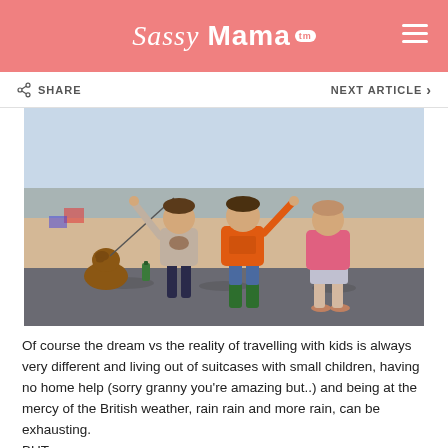Sassy Mama
[Figure (photo): Three children and a dog at the beach. A brown dog sits on the left holding a leash. Three children stand on a stone ledge with the beach and ocean in the background. The child in the middle wears an orange bike t-shirt and green boots, the child on the left wears a grey top and dark trousers, and the child on the right wears a pink top and shorts.]
Of course the dream vs the reality of travelling with kids is always very different and living out of suitcases with small children, having no home help (sorry granny you're amazing but..) and being at the mercy of the British weather, rain rain and more rain, can be exhausting.
BUT...